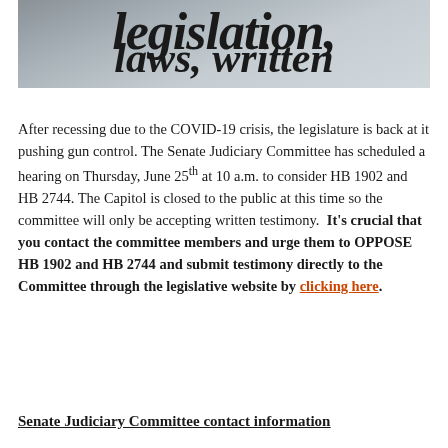[Figure (photo): Close-up photograph of printed text showing words 'legislation', 'laws, written' in bold serif italic font on paper.]
After recessing due to the COVID-19 crisis, the legislature is back at it pushing gun control. The Senate Judiciary Committee has scheduled a hearing on Thursday, June 25th at 10 a.m. to consider HB 1902 and HB 2744. The Capitol is closed to the public at this time so the committee will only be accepting written testimony.  It's crucial that you contact the committee members and urge them to OPPOSE HB 1902 and HB 2744 and submit testimony directly to the Committee through the legislative website by clicking here.
Senate Judiciary Committee contact information